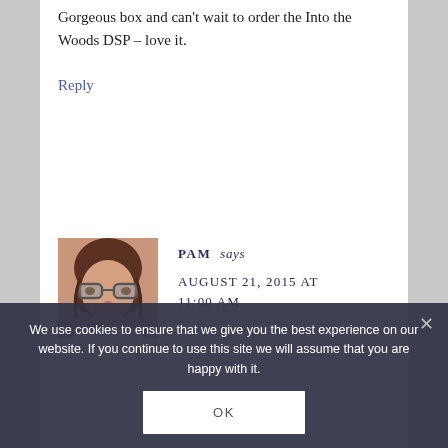Gorgeous box and can't wait to order the Into the Woods DSP – love it.
Reply
PAM says
AUGUST 21, 2015 AT 11:00 AM
[Figure (photo): Avatar photo of commenter Pam, a woman with glasses and dark hair, smiling.]
We use cookies to ensure that we give you the best experience on our website. If you continue to use this site we will assume that you are happy with it.
OK